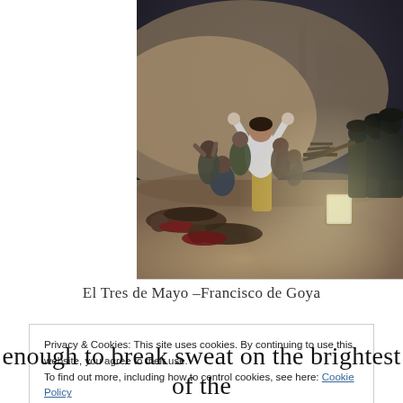[Figure (illustration): El Tres de Mayo by Francisco de Goya — painting showing Spanish civilians being executed by French soldiers, with a central white-shirted figure with arms raised]
El Tres de Mayo — Francisco de Goya
Privacy & Cookies: This site uses cookies. By continuing to use this website, you agree to their use.
To find out more, including how to control cookies, see here: Cookie Policy
Close and accept
enough to break sweat on the brightest of the